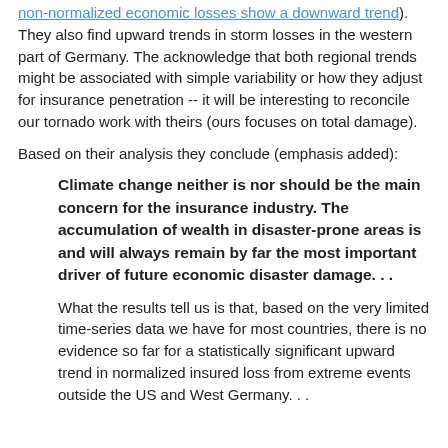non-normalized economic losses show a downward trend). They also find upward trends in storm losses in the western part of Germany. The acknowledge that both regional trends might be associated with simple variability or how they adjust for insurance penetration -- it will be interesting to reconcile our tornado work with theirs (ours focuses on total damage).
Based on their analysis they conclude (emphasis added):
Climate change neither is nor should be the main concern for the insurance industry. The accumulation of wealth in disaster-prone areas is and will always remain by far the most important driver of future economic disaster damage. . .
What the results tell us is that, based on the very limited time-series data we have for most countries, there is no evidence so far for a statistically significant upward trend in normalized insured loss from extreme events outside the US and West Germany. . .